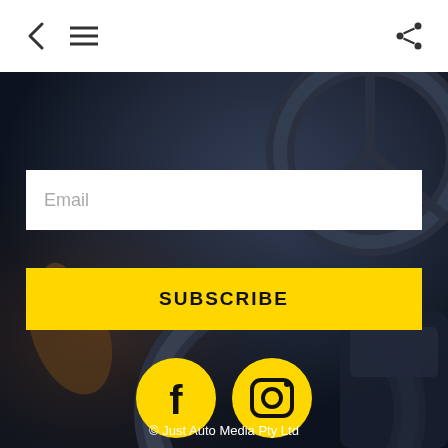< ≡  [share icon]
[Figure (photo): Dark car interior with person's hands on steering wheel, used as background image]
Email
SUBSCRIBE
[Figure (illustration): Yellow circle with Facebook 'f' logo icon]
[Figure (illustration): Yellow circle with Instagram camera logo icon]
© Just Auto Media Pty Ltd